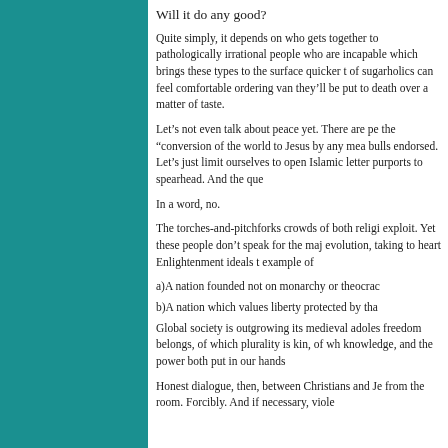Will it do any good?
Quite simply, it depends on who gets together to pathologically irrational people who are incapable which brings these types to the surface quicker t of sugarholics can feel comfortable ordering van they’ll be put to death over a matter of taste.
Let’s not even talk about peace yet. There are pe the “conversion of the world to Jesus by any mea bulls endorsed. Let’s just limit ourselves to open Islamic letter purports to spearhead. And the que
In a word, no.
The torches-and-pitchforks crowds of both religi exploit. Yet these people don’t speak for the maj evolution, taking to heart Enlightenment ideals t example of
a)A nation founded not on monarchy or theocrac
b)A nation which values liberty protected by tha
Global society is outgrowing its medieval adoles freedom belongs, of which plurality is kin, of wh knowledge, and the power both put in our hands
Honest dialogue, then, between Christians and Je from the room. Forcibly. And if necessary, viole